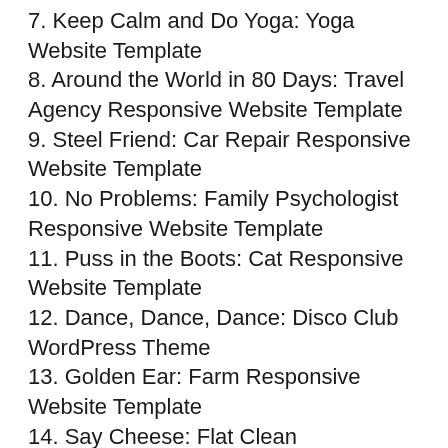7. Keep Calm and Do Yoga: Yoga Website Template
8. Around the World in 80 Days: Travel Agency Responsive Website Template
9. Steel Friend: Car Repair Responsive Website Template
10. No Problems: Family Psychologist Responsive Website Template
11. Puss in the Boots: Cat Responsive Website Template
12. Dance, Dance, Dance: Disco Club WordPress Theme
13. Golden Ear: Farm Responsive Website Template
14. Say Cheese: Flat Clean Photographer WordPress Theme